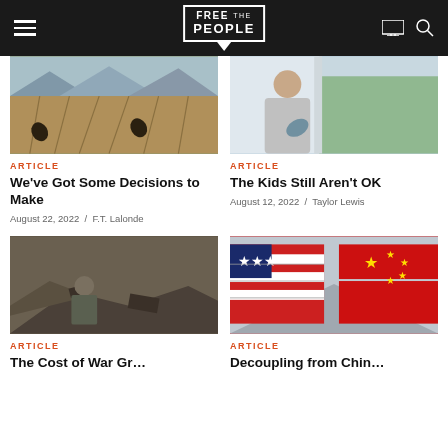Free the People
[Figure (photo): Farm workers bent over harvesting crops in a field with mountains in background]
ARTICLE
We've Got Some Decisions to Make
August 22, 2022 / F.T. Lalonde
[Figure (photo): Child sitting by a window looking outside]
ARTICLE
The Kids Still Aren't OK
August 12, 2022 / Taylor Lewis
[Figure (photo): Soldier or person in military gear amid rubble and destruction]
ARTICLE
[Figure (photo): Shipping containers with American flag and Chinese flag designs on a road]
ARTICLE